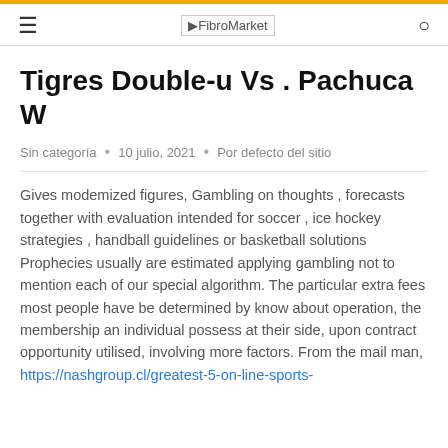FibroMarket
Tigres Double-u Vs . Pachuca W
Sin categoría • 10 julio, 2021 • Por defecto del sitio
Gives modemized figures, Gambling on thoughts , forecasts together with evaluation intended for soccer , ice hockey strategies , handball guidelines or basketball solutions Prophecies usually are estimated applying gambling not to mention each of our special algorithm. The particular extra fees most people have be determined by know about operation, the membership an individual possess at their side, upon contract opportunity utilised, involving more factors. From the mail man, https://nashgroup.cl/greatest-5-on-line-sports-